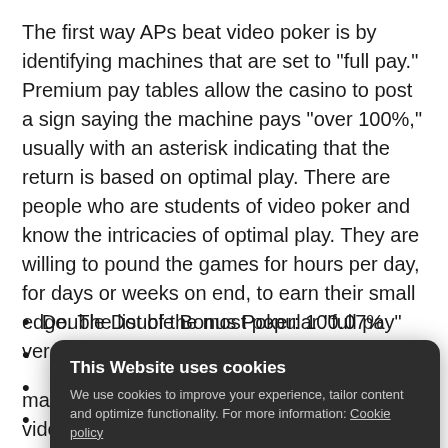The first way APs beat video poker is by identifying machines that are set to "full pay." Premium pay tables allow the casino to post a sign saying the machine pays "over 100%," usually with an asterisk indicating that the return is based on optimal play. There are people who are students of video poker and know the intricacies of optimal play. They are willing to pound the games for hours per day, for days or weeks on end, to earn their small edge. The list of the most popular "full pay" versions is:
Double Double Bonus Poker: 100.07%
•
•
•
[Figure (screenshot): Cookie consent banner overlay with dark rounded rectangle background. Title: 'This Website uses cookies'. Body: 'We use cookies to improve your experience, tailor content and optimize functionality. For more information: Cookie policy'. Buttons: 'Customize Cookies' (underlined) and 'ACCEPT' (yellow rounded button).]
machines with progressive jackpots. Any time video